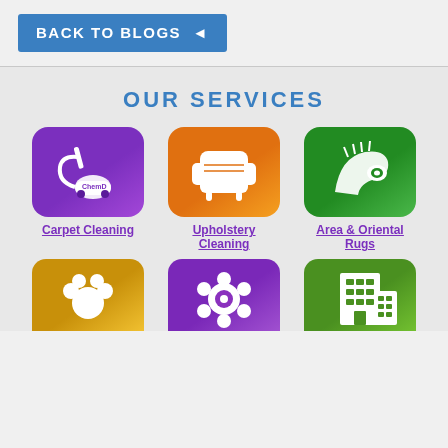BACK TO BLOGS
OUR SERVICES
[Figure (illustration): Purple rounded square icon with white carpet cleaning machine (ChemDry) illustration]
Carpet Cleaning
[Figure (illustration): Orange rounded square icon with white armchair illustration]
Upholstery Cleaning
[Figure (illustration): Green rounded square icon with white area rug illustration]
Area & Oriental Rugs
[Figure (illustration): Gold/yellow rounded square icon with white paw print illustration]
[Figure (illustration): Purple rounded square icon with white odor/bacteria splash illustration]
[Figure (illustration): Green rounded square icon with white commercial building illustration]